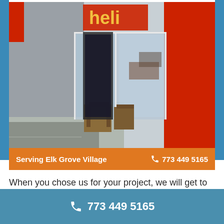[Figure (photo): Street-level exterior photo of a modern commercial building with red facade, glass storefront with reflections, outdoor furniture/planters on sidewalk, and a sign reading 'helix']
Serving Elk Grove Village  📞 773 449 5165
When you chose us for your project, we will get to your place on time and get to work as soon as possible. Our technicians are skilled and will work with utmost professionalism.
📞 773 449 5165